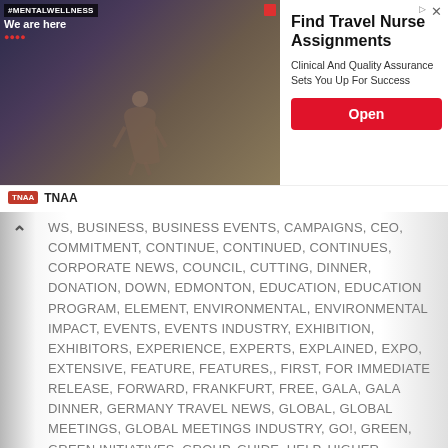[Figure (screenshot): Advertisement banner for TNAA travel nurse assignments. Shows a dark moody background image on the left with '#MENTALWELLNESS We are here' text, and on the right: title 'Find Travel Nurse Assignments', body text 'Clinical And Quality Assurance Sets You Up For Success', a red 'Open' button, and TNAA logo at bottom.]
WS, BUSINESS, BUSINESS EVENTS, CAMPAIGNS, CEO, COMMITMENT, CONTINUE, CONTINUED, CONTINUES, CORPORATE NEWS, COUNCIL, CUTTING, DINNER, DONATION, DOWN, EDMONTON, EDUCATION, EDUCATION PROGRAM, ELEMENT, ENVIRONMENTAL, ENVIRONMENTAL IMPACT, EVENTS, EVENTS INDUSTRY, EXHIBITION, EXHIBITORS, EXPERIENCE, EXPERTS, EXPLAINED, EXPO, EXTENSIVE, FEATURE, FEATURES,, FIRST, FOR IMMEDIATE RELEASE, FORWARD, FRANKFURT, FREE, GALA, GALA DINNER, GERMANY TRAVEL NEWS, GLOBAL, GLOBAL MEETINGS, GLOBAL MEETINGS INDUSTRY, GO!, GREEN, GREEN INITIATIVES, GROUP, GUIDE, HELP, HIGHER, HOSTING, HUB, IDEAS, IMAGINATION, IMAGINE, IMEX, IMEX AMERICA, IMEX GROUP, IMPACT, IMPROVE, IN, INCLUDING, INCREASE, INDUSTRY, INDUSTRY LEADERS, INITIATIVES, INNOVATION, INSIGHTS, INSPIRATION, INTERCONTINENTAL, INTERNATIONAL TRAVEL NEWS, INTRODUCED, INVITED, ISSUES, IT, JANUARY, JOINS, KEY, LAST, LAUNCH, LEAD, LEADERS, LEADERSHIP, LEADING, LEARN, LEARNING, LINE, LIST M, MAKE, MAY, MEET, MEETINGS,